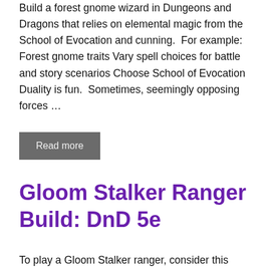Build a forest gnome wizard in Dungeons and Dragons that relies on elemental magic from the School of Evocation and cunning.  For example: Forest gnome traits Vary spell choices for battle and story scenarios Choose School of Evocation Duality is fun.  Sometimes, seemingly opposing forces …
Read more
Gloom Stalker Ranger Build: DnD 5e
To play a Gloom Stalker ranger, consider this